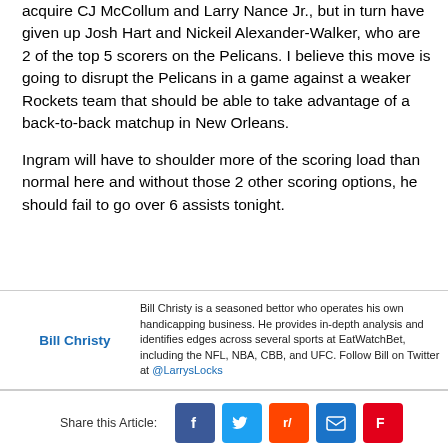acquire CJ McCollum and Larry Nance Jr., but in turn have given up Josh Hart and Nickeil Alexander-Walker, who are 2 of the top 5 scorers on the Pelicans. I believe this move is going to disrupt the Pelicans in a game against a weaker Rockets team that should be able to take advantage of a back-to-back matchup in New Orleans.
Ingram will have to shoulder more of the scoring load than normal here and without those 2 other scoring options, he should fail to go over 6 assists tonight.
Bill Christy is a seasoned bettor who operates his own handicapping business. He provides in-depth analysis and identifies edges across several sports at EatWatchBet, including the NFL, NBA, CBB, and UFC. Follow Bill on Twitter at @LarrysLocks
Share this Article: